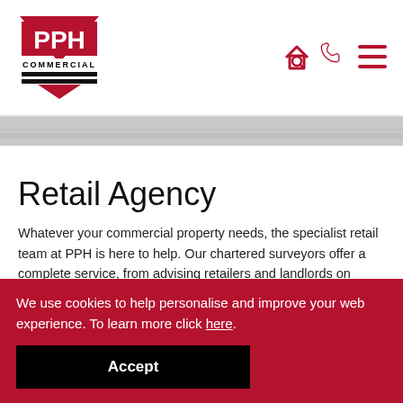[Figure (logo): PPH Commercial logo — dark red/crimson triangle shapes with white PPH text and COMMERCIAL label, with horizontal black bars]
[Figure (infographic): Navigation icons: house with magnifying glass, phone handset, and hamburger menu — all in dark red/crimson]
[Figure (photo): Banner photo strip showing a tiled floor or pavement surface in grey tones]
Retail Agency
Whatever your commercial property needs, the specialist retail team at PPH is here to help. Our chartered surveyors offer a complete service, from advising retailers and landlords on shopping centres and high street units to
We use cookies to help personalise and improve your web experience. To learn more click here.
Accept